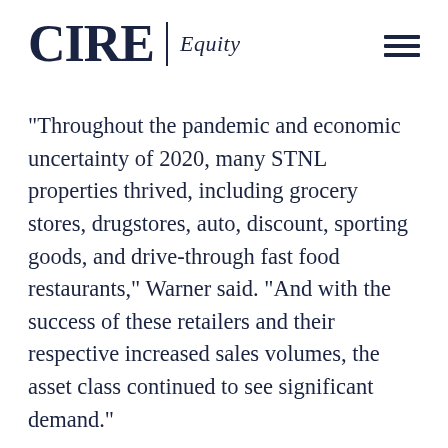CIRE | Equity
“Throughout the pandemic and economic uncertainty of 2020, many STNL properties thrived, including grocery stores, drugstores, auto, discount, sporting goods, and drive-through fast food restaurants,” Warner said. “And with the success of these retailers and their respective increased sales volumes, the asset class continued to see significant demand.”
The STNL sector has always offered many investment advantages, including low entry costs, predictable and long-term cash flow,